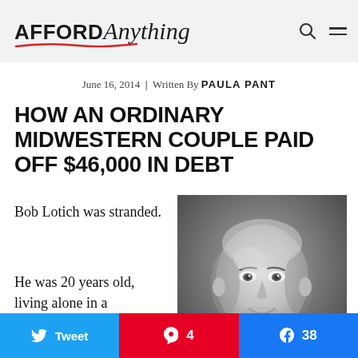AFFORD Anything
June 16, 2014 | Written By PAULA PANT
HOW AN ORDINARY MIDWESTERN COUPLE PAID OFF $46,000 IN DEBT
Bob Lotich was stranded.
He was 20 years old, living alone in a
[Figure (photo): Black and white portrait photo of a smiling bald man]
Tweet
4
38